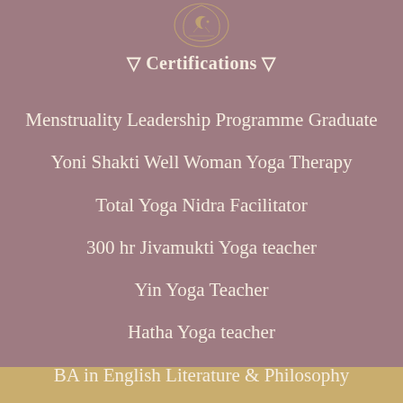[Figure (logo): Decorative logo emblem at top center, golden/cream colored botanical or moon design on mauve background]
▽ Certifications ▽
Menstruality Leadership Programme Graduate
Yoni Shakti Well Woman Yoga Therapy
Total Yoga Nidra Facilitator
300 hr Jivamukti Yoga teacher
Yin Yoga Teacher
Hatha Yoga teacher
BA in English Literature & Philosophy